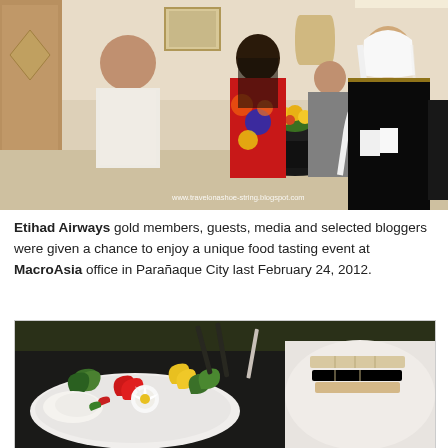[Figure (photo): Indoor event scene with guests and a man in traditional Arab attire (black thobe and white keffiyeh) standing near a table with flowers. Guests are mingling in a hotel-like setting. Watermark reads www.travelonashoe-string.blogspot.com]
Etihad Airways gold members, guests, media and selected bloggers were given a chance to enjoy a unique food tasting event at MacroAsia office in Parañaque City last February 24, 2012.
[Figure (photo): Close-up of decorative food plating with colorful garnishes including leaf-shaped vegetable carvings in red, yellow and green, alongside a white plate with crackers/bread.]